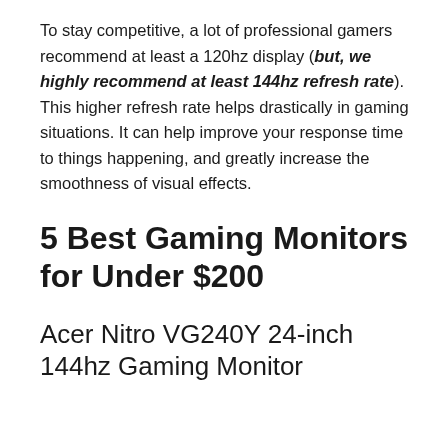To stay competitive, a lot of professional gamers recommend at least a 120hz display (but, we highly recommend at least 144hz refresh rate). This higher refresh rate helps drastically in gaming situations. It can help improve your response time to things happening, and greatly increase the smoothness of visual effects.
5 Best Gaming Monitors for Under $200
Acer Nitro VG240Y 24-inch 144hz Gaming Monitor